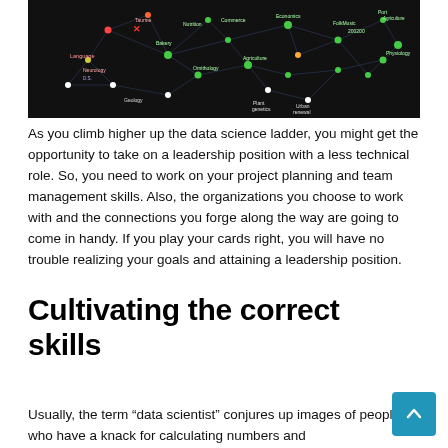[Figure (network-graph): A dark-background network graph showing interconnected nodes in various colors (green, red, yellow, white, orange) with labeled nodes representing scientific disciplines such as Geology, Physiology, Agriculture, Neurology, Plant Genetics, and others, connected by lines forming a complex knowledge map.]
As you climb higher up the data science ladder, you might get the opportunity to take on a leadership position with a less technical role. So, you need to work on your project planning and team management skills. Also, the organizations you choose to work with and the connections you forge along the way are going to come in handy. If you play your cards right, you will have no trouble realizing your goals and attaining a leadership position.
Cultivating the correct skills
Usually, the term “data scientist” conjures up images of people who have a knack for calculating numbers and